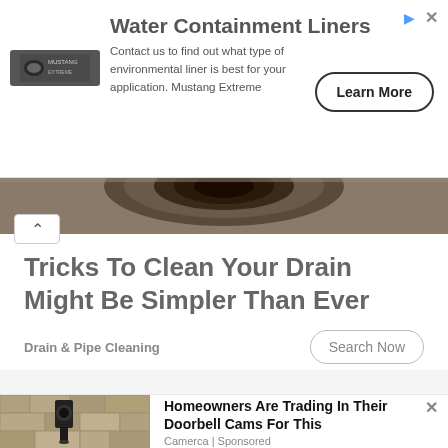[Figure (screenshot): Advertisement banner for Water Containment Liners by Mustang Extreme with logo, text, and Learn More button]
Water Containment Liners
Contact us to find out what type of environmental liner is best for your application. Mustang Extreme
[Figure (photo): Close-up of a circular metal drain, dark brownish-gray tones]
Tricks To Clean Your Drain Might Be Simpler Than Ever
Drain & Pipe Cleaning
[Figure (photo): Outdoor wall-mounted security camera with light fixture on stone wall]
Homeowners Are Trading In Their Doorbell Cams For This
Camerca | Sponsored